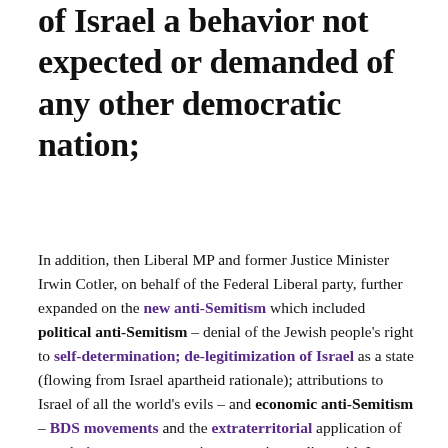of Israel a behavior not expected or demanded of any other democratic nation;
In addition, then Liberal MP and former Justice Minister Irwin Cotler, on behalf of the Federal Liberal party, further expanded on the new anti-Semitism which included political anti-Semitism – denial of the Jewish people's right to self-determination; de-legitimization of Israel as a state (flowing from Israel apartheid rationale); attributions to Israel of all the world's evils – and economic anti-Semitism – BDS movements and the extraterritorial application of restrictive covenants against countries trading with Israel.